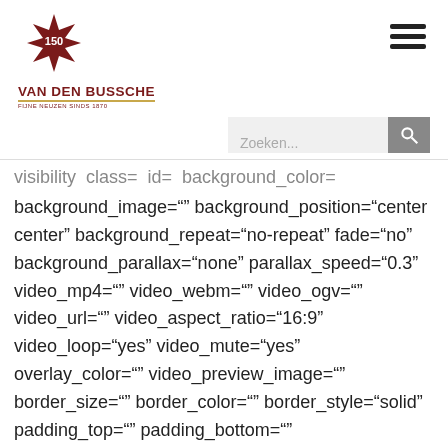[Figure (logo): Van Den Bussche Wijnhandel logo with a dark red star shape containing '150' and the text 'VAN DEN BUSSCHE' below with 'FIJNE NEUZEN SINDS 1870']
visibility class= id= background_color= background_image="" background_position="center center" background_repeat="no-repeat" fade="no" background_parallax="none" parallax_speed="0.3" video_mp4="" video_webm="" video_ogv="" video_url="" video_aspect_ratio="16:9" video_loop="yes" video_mute="yes" overlay_color="" video_preview_image="" border_size="" border_color="" border_style="solid" padding_top="" padding_bottom=""